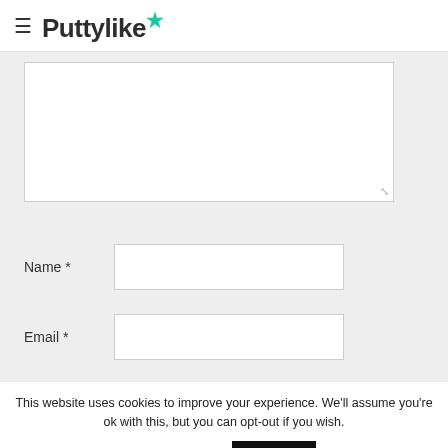Puttylike
[Figure (screenshot): Web form with textarea, Name and Email fields on a light gray background]
This website uses cookies to improve your experience. We'll assume you're ok with this, but you can opt-out if you wish.
Cookie settings
ACCEPT